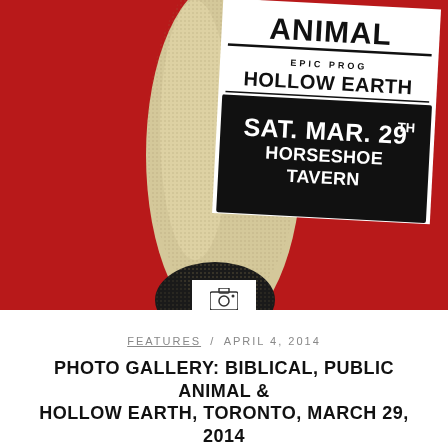[Figure (illustration): Concert poster/flyer for Biblical, Public Animal & Hollow Earth at Horseshoe Tavern, Sat. Mar. 29th. White ticket design overlaid on a stylized red background with a textured foot/leg shape. Ticket shows partial band name '...LIC ANIMAL', 'EPIC PROG', 'HOLLOW EARTH', black box with 'SAT. MAR. 29TH HORSESHOE TAVERN'. Camera icon below poster image.]
FEATURES / APRIL 4, 2014
PHOTO GALLERY: BIBLICAL, PUBLIC ANIMAL & HOLLOW EARTH, TORONTO, MARCH 29, 2014
Biblical have a new album out called Monsoon